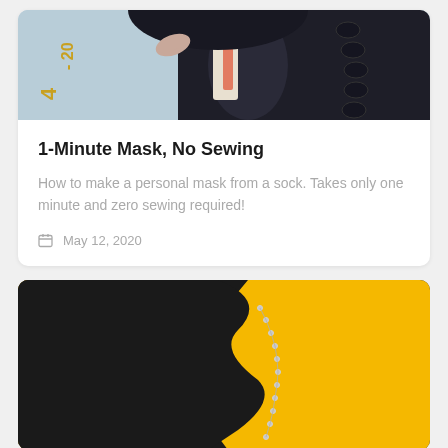[Figure (photo): Top cropped photo of a person wearing a dark jacket, partially visible, with a number tag showing '4-20' visible on the left side. Light blue/grey background.]
1-Minute Mask, No Sewing
How to make a personal mask from a sock. Takes only one minute and zero sewing required!
May 12, 2020
[Figure (photo): Photo with yellow background and a black silhouette of a person's profile/neck from the left side. A silver bead chain necklace is visible draped diagonally across the yellow area.]